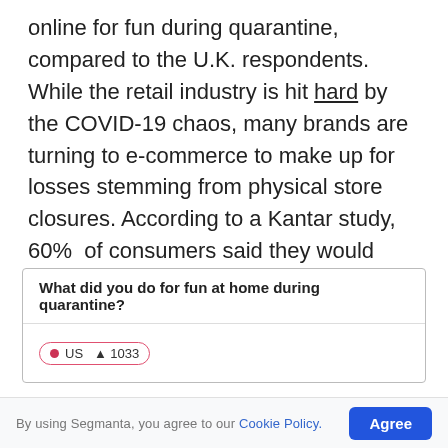online for fun during quarantine, compared to the U.K. respondents. While the retail industry is hit hard by the COVID-19 chaos, many brands are turning to e-commerce to make up for losses stemming from physical store closures. According to a Kantar study, 60%  of consumers said they would continue to shop online even after the pandemic passes.
| What did you do for fun at home during quarantine? |
| --- |
| US   ▲ 1033 |
By using Segmanta, you agree to our Cookie Policy.